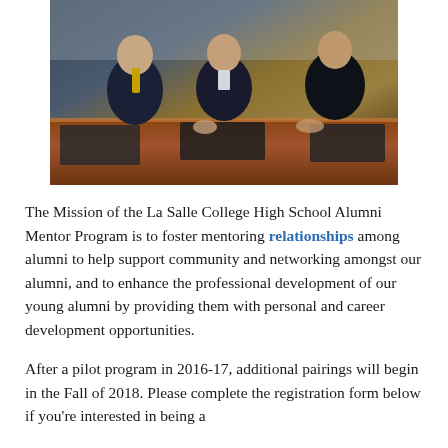[Figure (photo): Three men in suits seated at a conference table with dark leather folders on a wood-tone table surface]
The Mission of the La Salle College High School Alumni Mentor Program is to foster mentoring relationships among alumni to help support community and networking amongst our alumni, and to enhance the professional development of our young alumni by providing them with personal and career development opportunities.
After a pilot program in 2016-17, additional pairings will begin in the Fall of 2018. Please complete the registration form below if you're interested in being a